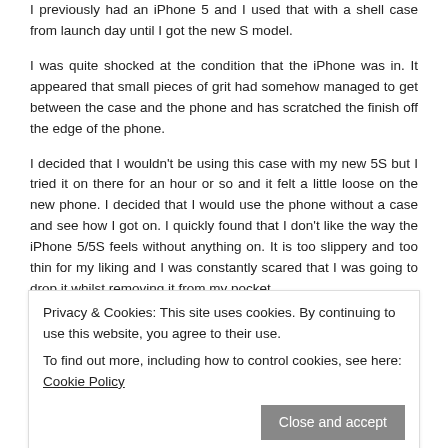I previously had an iPhone 5 and I used that with a shell case from launch day until I got the new S model.
I was quite shocked at the condition that the iPhone was in. It appeared that small pieces of grit had somehow managed to get between the case and the phone and has scratched the finish off the edge of the phone.
I decided that I wouldn't be using this case with my new 5S but I tried it on there for an hour or so and it felt a little loose on the new phone. I decided that I would use the phone without a case and see how I got on. I quickly found that I don't like the way the iPhone 5/5S feels without anything on. It is too slippery and too thin for my liking and I was constantly scared that I was going to drop it whilst removing it from my pocket.
Privacy & Cookies: This site uses cookies. By continuing to use this website, you agree to their use.
To find out more, including how to control cookies, see here: Cookie Policy
Close and accept
ent cases that they had available and the Apple case really caught my eye for the simplicity and quality. It seemed a little expensive at £35.00 but I thought that if I da stand a good chance that it would look after the finish of my phone in everyday use it was worth a go.
This is what your £35 gets you.